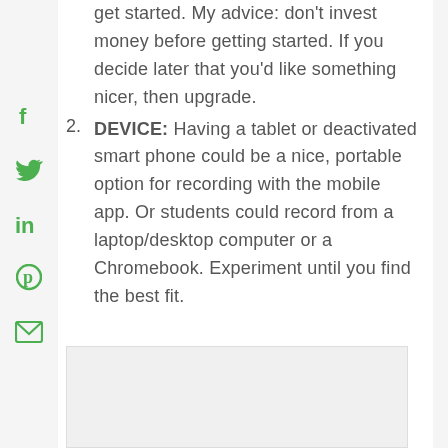[Figure (infographic): Social media share icons sidebar: Facebook, Twitter, LinkedIn, Pinterest, Email — all in green]
get started. My advice: don’t invest money before getting started. If you decide later that you’d like something nicer, then upgrade.
DEVICE: Having a tablet or deactivated smart phone could be a nice, portable option for recording with the mobile app. Or students could record from a laptop/desktop computer or a Chromebook. Experiment until you find the best fit.
[Figure (photo): Image placeholder box at bottom of page]